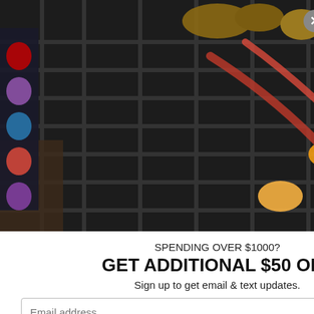[Figure (screenshot): Partial e-commerce website background showing an orange promotional banner with text about orders, search and bag icons, an orange rectangular block, decorative text 'in', 'eason', large orange numerals, and an orange Message chat button in the lower right.]
[Figure (photo): Food photo showing grilled skewers and BBQ items on a grill with a person's hand visible, along with a close (X) button in a gray circle.]
SPENDING OVER $1000?
GET ADDITIONAL $50 OFF
Sign up to get email & text updates.
Email address
Phone Number
By entering your phone number, you agree to receive marketing text messages from our company and phone calls at the number provided, including messages sent by autodialer. Consent is not a condition of purchase. Message and data rates may apply. Message frequency varies. Reply HELP for help or STOP to cancel. View our Privacy Policy and Terms of Service.